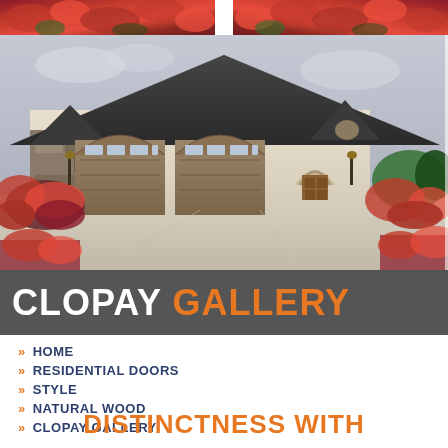[Figure (photo): House exterior with three garage doors and flowering landscaping; photo collage with flower strip at top and main house photo below]
CLOPAY GALLERY
HOME
RESIDENTIAL DOORS
STYLE
NATURAL WOOD
CLOPAY GALLERY
DISTINCTNESS WITH